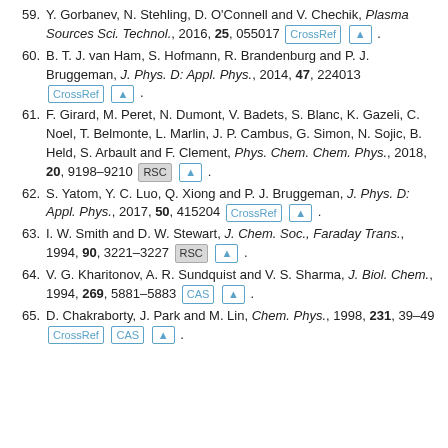59. Y. Gorbanev, N. Stehling, D. O'Connell and V. Chechik, Plasma Sources Sci. Technol., 2016, 25, 055017 [CrossRef] [↑].
60. B. T. J. van Ham, S. Hofmann, R. Brandenburg and P. J. Bruggeman, J. Phys. D: Appl. Phys., 2014, 47, 224013 [CrossRef] [↑].
61. F. Girard, M. Peret, N. Dumont, V. Badets, S. Blanc, K. Gazeli, C. Noel, T. Belmonte, L. Marlin, J. P. Cambus, G. Simon, N. Sojic, B. Held, S. Arbault and F. Clement, Phys. Chem. Chem. Phys., 2018, 20, 9198–9210 [RSC] [↑].
62. S. Yatom, Y. C. Luo, Q. Xiong and P. J. Bruggeman, J. Phys. D: Appl. Phys., 2017, 50, 415204 [CrossRef] [↑].
63. I. W. Smith and D. W. Stewart, J. Chem. Soc., Faraday Trans., 1994, 90, 3221–3227 [RSC] [↑].
64. V. G. Kharitonov, A. R. Sundquist and V. S. Sharma, J. Biol. Chem., 1994, 269, 5881–5883 [CAS] [↑].
65. D. Chakraborty, J. Park and M. Lin, Chem. Phys., 1998, 231, 39–49 [CrossRef] [CAS] [↑].